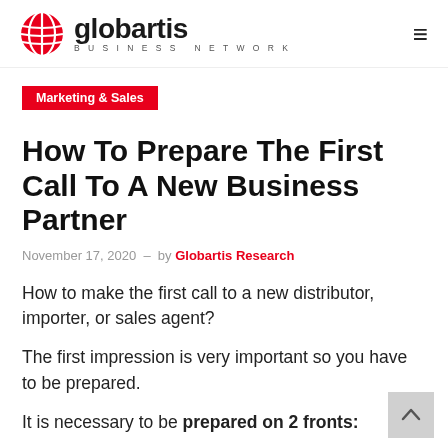globartis BUSINESS NETWORK
Marketing & Sales
How To Prepare The First Call To A New Business Partner
November 17, 2020 – by Globartis Research
How to make the first call to a new distributor, importer, or sales agent?
The first impression is very important so you have to be prepared.
It is necessary to be prepared on 2 fronts: